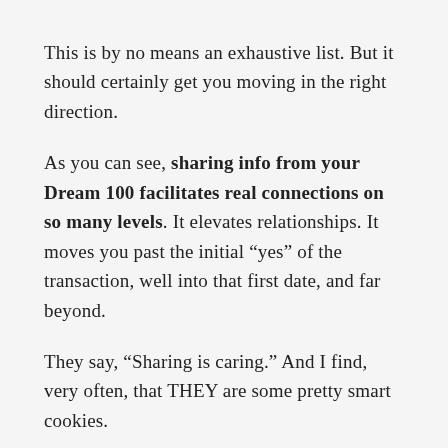This is by no means an exhaustive list. But it should certainly get you moving in the right direction.
As you can see, sharing info from your Dream 100 facilitates real connections on so many levels. It elevates relationships. It moves you past the initial “yes” of the transaction, well into that first date, and far beyond.
They say, “Sharing is caring.” And I find, very often, that THEY are some pretty smart cookies.
If you’d like to work with me in creating your own Dream 100, and writing a strategic plan to positively influence their